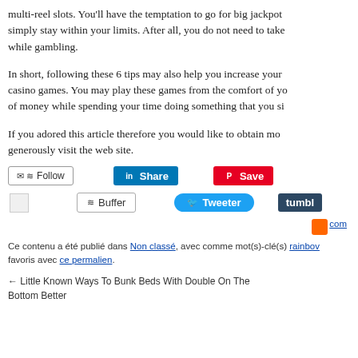multi-reel slots. You'll have the temptation to go for big jackpot simply stay within your limits. After all, you do not need to take while gambling.
In short, following these 6 tips may also help you increase your casino games. You may play these games from the comfort of yo of money while spending your time doing something that you si
If you adored this article therefore you would like to obtain mo generously visit the web site.
[Figure (infographic): Social sharing buttons: Follow, LinkedIn Share, Pinterest Save, image placeholder, Buffer, Twitter Tweeter, Tumblr, RSS/com link]
Ce contenu a été publié dans Non classé, avec comme mot(s)-clé(s) rainbow favoris avec ce permalien.
← Little Known Ways To Bunk Beds With Double On The Bottom Better